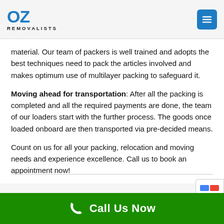OZ REMOVALISTS
material. Our team of packers is well trained and adopts the best techniques need to pack the articles involved and makes optimum use of multilayer packing to safeguard it.
Moving ahead for transportation:  After all the packing is completed and all the required payments are done, the team of our loaders start with the further process. The goods once loaded onboard are then transported via pre-decided means.
Count on us for all your packing, relocation and moving needs and experience excellence. Call us to book an appointment now!
Call Us Now